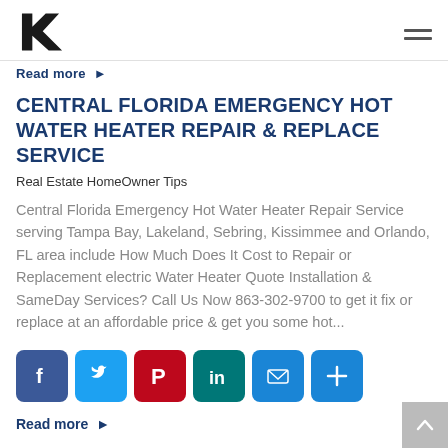B logo + hamburger menu
Read more ▶
CENTRAL FLORIDA EMERGENCY HOT WATER HEATER REPAIR & REPLACE SERVICE
Real Estate HomeOwner Tips
Central Florida Emergency Hot Water Heater Repair Service serving Tampa Bay, Lakeland, Sebring, Kissimmee and Orlando, FL area include How Much Does It Cost to Repair or Replacement electric Water Heater Quote Installation & SameDay Services? Call Us Now 863-302-9700 to get it fix or replace at an affordable price & get you some hot...
[Figure (infographic): Row of social sharing icon buttons: Facebook (blue), Twitter (blue), Pinterest (dark red), LinkedIn (teal), Email (blue), More/Plus (blue)]
Read more ▶